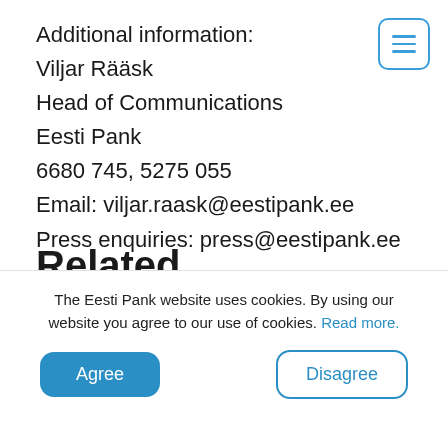Additional information:
Viljar Rääsk
Head of Communications
Eesti Pank
6680 745, 5275 055
Email: viljar.raask@eestipank.ee
Press enquiries: press@eestipank.ee
[Figure (other): Menu/hamburger icon button with three horizontal lines, outlined in blue with rounded corners]
The Eesti Pank website uses cookies. By using our website you agree to our use of cookies. Read more.
Agree
Disagree